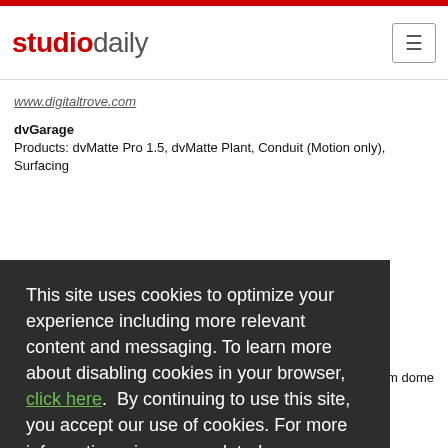studiodaily
www.digitaltrove.com
dvGarage
Products: dvMatte Pro 1.5, dvMatte Plant, Conduit (Motion only), Surfacing
um dome
tory and
Platforms: Windows, Linux
This site uses cookies to optimize your experience including more relevant content and messaging. To learn more about disabling cookies in your browser, click here.  By continuing to use this site, you accept our use of cookies. For more information, view our updated Privacy Policy.
I Consent